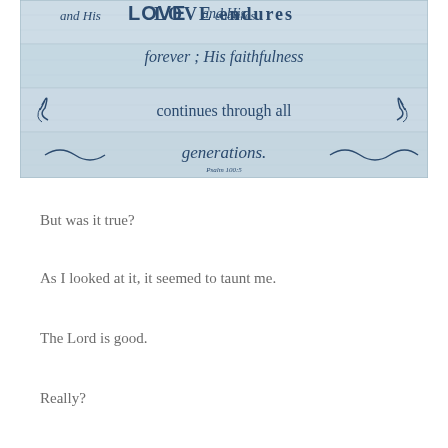[Figure (photo): A wooden sign with text painted in dark navy/blue cursive and serif fonts on a light blue/white distressed wood background. Text reads: '...and His LOVE endures forever; His faithfulness continues through all generations. Psalm 100:5' with decorative scroll flourishes on the sides.]
But was it true?
As I looked at it, it seemed to taunt me.
The Lord is good.
Really?